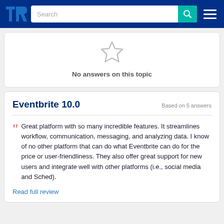TrustRadius navigation with search bar
[Figure (other): Star icon with grey color indicating no answers]
No answers on this topic
Eventbrite 10.0
Based on 5 answers
Great platform with so many incredible features. It streamlines workflow, communication, messaging, and analyzing data. I know of no other platform that can do what Eventbrite can do for the price or user-friendliness. They also offer great support for new users and integrate well with other platforms (i.e., social media and Sched).
Read full review